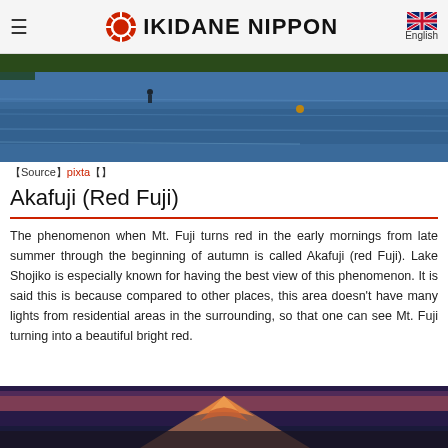IKIDANE NIPPON | English
[Figure (photo): Lake scene with a person on the water, reflections of blue sky and surrounding trees]
【Source】pixta【】
Akafuji (Red Fuji)
The phenomenon when Mt. Fuji turns red in the early mornings from late summer through the beginning of autumn is called Akafuji (red Fuji). Lake Shojiko is especially known for having the best view of this phenomenon. It is said this is because compared to other places, this area doesn't have many lights from residential areas in the surrounding, so that one can see Mt. Fuji turning into a beautiful bright red.
[Figure (photo): Mt. Fuji glowing bright red/orange at sunrise (Akafuji), snow-capped peak with purple and pink sky]